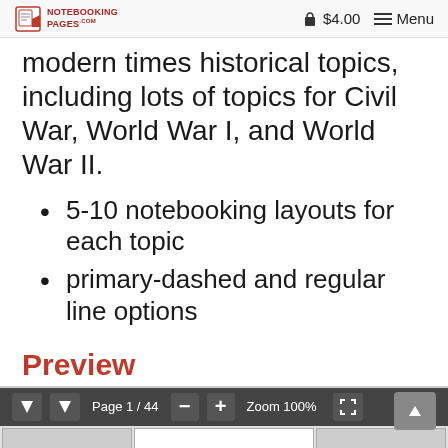NOTEBOOKING PAGES | $4.00 | Menu
modern times historical topics, including lots of topics for Civil War, World War I, and World War II.
5-10 notebooking layouts for each topic
primary-dashed and regular line options
Preview
[Figure (screenshot): PDF viewer toolbar showing Page 1/44, Zoom 100%, navigation arrows, and expand button. Below is a partial preview of document content.]